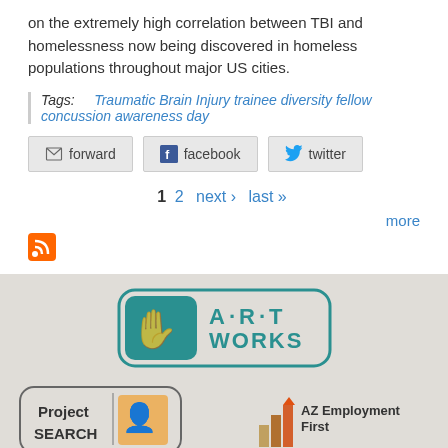on the extremely high correlation between TBI and homelessness now being discovered in homeless populations throughout major US cities.
Tags: Traumatic Brain Injury trainee diversity fellow concussion awareness day
[Figure (other): Share buttons: forward (email), facebook, twitter]
1  2  next ›  last »
more
[Figure (logo): RSS feed icon]
[Figure (logo): A·R·T WORKS logo - teal rounded rectangle with stylized hands graphic]
[Figure (logo): Project SEARCH logo]
[Figure (logo): AZ Employment First logo with bar chart graphic]